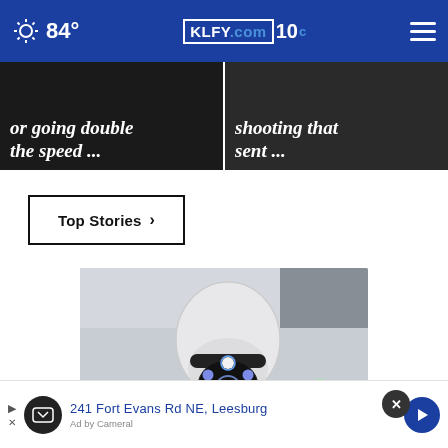84° KLFY.com 10
or going double the speed ...
shooting that sent ...
Top Stories ›
[Figure (photo): White rotating security/surveillance camera with blue LED lights mounted on a ceiling or wall]
241 Fort Evans Rd NE, Leesburg
Ad by Cameral